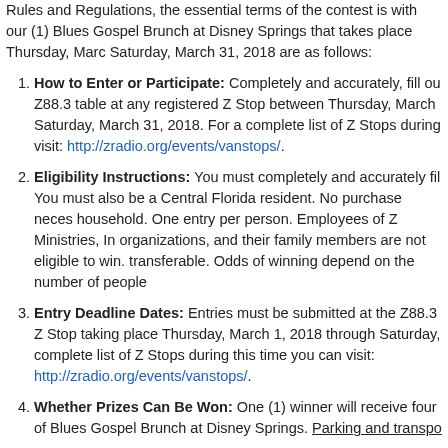Rules and Regulations, the essential terms of the contest is with our (1) Blues Gospel Brunch at Disney Springs that takes place Thursday, March Saturday, March 31, 2018 are as follows:
How to Enter or Participate: Completely and accurately, fill out a Z88.3 table at any registered Z Stop between Thursday, March Saturday, March 31, 2018. For a complete list of Z Stops during visit: http://zradio.org/events/vanstops/.
Eligibility Instructions: You must completely and accurately fill. You must also be a Central Florida resident. No purchase necessary per household. One entry per person. Employees of Z Ministries, Inc., organizations, and their family members are not eligible to win. transferable. Odds of winning depend on the number of people
Entry Deadline Dates: Entries must be submitted at the Z88.3 Z Stop taking place Thursday, March 1, 2018 through Saturday, complete list of Z Stops during this time you can visit: http://zradio.org/events/vanstops/.
Whether Prizes Can Be Won: One (1) winner will receive four of Blues Gospel Brunch at Disney Springs. Parking and transportation
When Prizes Can Be Won: One (1) winner will be drawn randomly by Monday, April 9, 2018. The tickets must be picked up by the photo ID at the Z88.3 Studios located at 1065 Rainer Drive, Alta